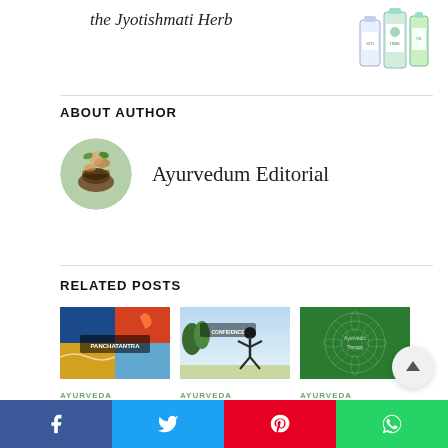the Jyotishmati Herb
[Figure (photo): Product image showing supplement bottles and ayurvedic products]
ABOUT AUTHOR
[Figure (photo): Circular avatar photo of Ayurvedum Editorial author]
Ayurvedum Editorial
RELATED POSTS
[Figure (photo): Related post thumbnail showing Panchatantra elements]
[Figure (photo): Related post thumbnail showing person jumping]
[Figure (photo): Related post thumbnail showing green mandala design]
AYURVEDA
AYURVEDA
AYURVEDA